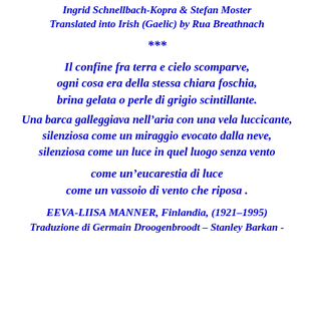Ingrid Schnellbach-Kopra & Stefan Moster
Translated into Irish (Gaelic) by Rua Breathnach
***
Il confine fra terra e cielo scomparve,
ogni cosa era della stessa chiara foschia,
brina gelata o perle di grigio scintillante.
Una barca galleggiava nell’aria con una vela luccicante,
silenziosa come un miraggio evocato dalla neve,
silenziosa come un luce in quel luogo senza vento
come un’eucarestia di luce
come un vassoio di vento che riposa .
EEVA-LIISA MANNER, Finlandia, (1921–1995)
Traduzione di Germain Droogenbroodt – Stanley Barkan -